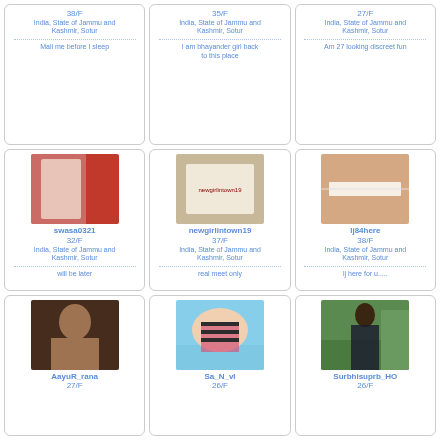38/F
India, State of Jammu and Kashmir, Sotur
Mail me before I sleep
35/F
India, State of Jammu and Kashmir, Sotur
I am bhayander girl back to this place
27/F
India, State of Jammu and Kashmir, Sotur
Am 27 looking discreet fun
[Figure (photo): Close-up photo with red background]
swasa0321
32/F
India, State of Jammu and Kashmir, Sotur
will be later
[Figure (photo): Person holding a handwritten note]
newgirlintown19
37/F
India, State of Jammu and Kashmir, Sotur
real meet only
[Figure (photo): Close-up of torso with white bra strap]
lj84here
38/F
India, State of Jammu and Kashmir, Sotur
lj here for u.....
[Figure (photo): Woman with dark hair indoors]
AayuR_rana
27/F
[Figure (photo): Person in striped top outdoors]
Sa_N_vI
26/F
[Figure (photo): Person standing on mountain trail from behind]
Surbhisuprb_HO
26/F